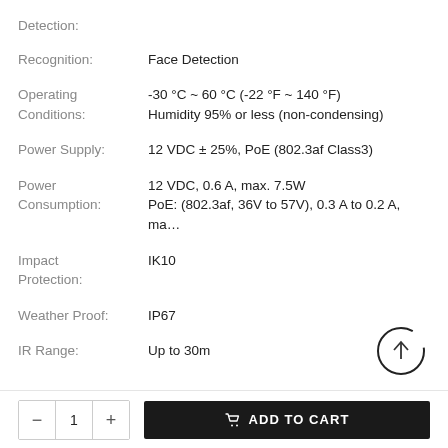Detection:
Recognition:  Face Detection
Operating Conditions:  -30 °C ~ 60 °C (-22 °F ~ 140 °F)
Humidity 95% or less (non-condensing)
Power Supply:  12 VDC ± 25%, PoE (802.3af Class3)
Power Consumption:  12 VDC, 0.6 A, max. 7.5W
PoE: (802.3af, 36V to 57V), 0.3 A to 0.2 A, ma…
Impact Protection:  IK10
Weather Proof:  IP67
IR Range:  Up to 30m